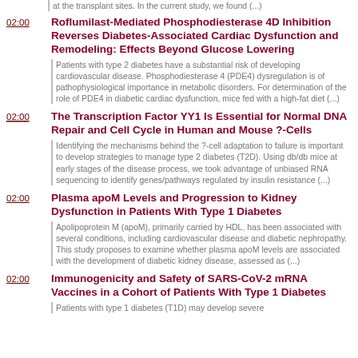at the transplant sites. In the current study, we found (...)
02:00 Roflumilast-Mediated Phosphodiesterase 4D Inhibition Reverses Diabetes-Associated Cardiac Dysfunction and Remodeling: Effects Beyond Glucose Lowering
Patients with type 2 diabetes have a substantial risk of developing cardiovascular disease. Phosphodiesterase 4 (PDE4) dysregulation is of pathophysiological importance in metabolic disorders. For determination of the role of PDE4 in diabetic cardiac dysfunction, mice fed with a high-fat diet (...)
02:00 The Transcription Factor YY1 Is Essential for Normal DNA Repair and Cell Cycle in Human and Mouse ?-Cells
Identifying the mechanisms behind the ?-cell adaptation to failure is important to develop strategies to manage type 2 diabetes (T2D). Using db/db mice at early stages of the disease process, we took advantage of unbiased RNA sequencing to identify genes/pathways regulated by insulin resistance (...)
02:00 Plasma apoM Levels and Progression to Kidney Dysfunction in Patients With Type 1 Diabetes
Apolipoprotein M (apoM), primarily carried by HDL, has been associated with several conditions, including cardiovascular disease and diabetic nephropathy. This study proposes to examine whether plasma apoM levels are associated with the development of diabetic kidney disease, assessed as (...)
02:00 Immunogenicity and Safety of SARS-CoV-2 mRNA Vaccines in a Cohort of Patients With Type 1 Diabetes
Patients with type 1 diabetes (T1D) may develop severe